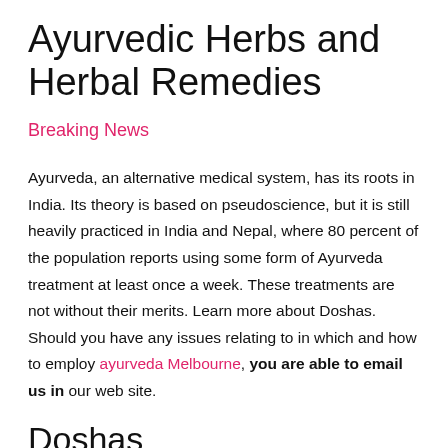Ayurvedic Herbs and Herbal Remedies
Breaking News
Ayurveda, an alternative medical system, has its roots in India. Its theory is based on pseudoscience, but it is still heavily practiced in India and Nepal, where 80 percent of the population reports using some form of Ayurveda treatment at least once a week. These treatments are not without their merits. Learn more about Doshas. Should you have any issues relating to in which and how to employ ayurveda Melbourne, you are able to email us in our web site.
Doshas
Ayurveda has its central concept, or “doshas”, which are also known as the “doshas.” Dosha is a Sanskrit name that literally means “that can cause trouble.” Doshas are the names of the the types of body types that affect an individual’s health.